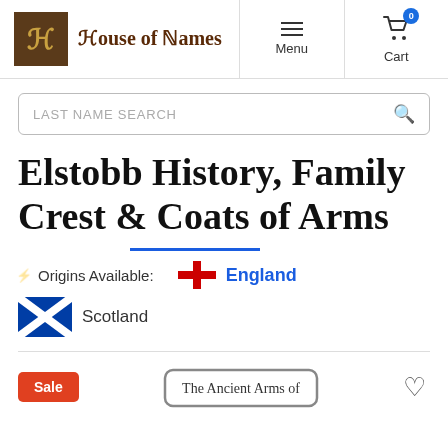House of Names — Menu | Cart (0)
LAST NAME SEARCH
Elstobb History, Family Crest & Coats of Arms
Origins Available: England Scotland
Sale